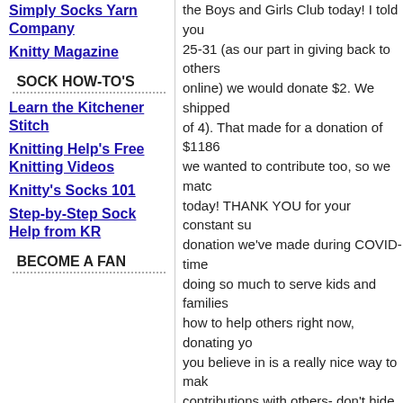Simply Socks Yarn Company
Knitty Magazine
SOCK HOW-TO'S
Learn the Kitchener Stitch
Knitting Help's Free Knitting Videos
Knitty's Socks 101
Step-by-Step Sock Help from KR
BECOME A FAN
the Boys and Girls Club today! I told you 25-31 (as our part in giving back to others online) we would donate $2. We shipped of 4). That made for a donation of $1186 we wanted to contribute too, so we matc today! THANK YOU for your constant su donation we've made during COVID-time doing so much to serve kids and families how to help others right now, donating yo you believe in is a really nice way to mak contributions with others- don't hide your to see how many small bits can add up t seem big in the overall scheme of things drought... or in knitters' terms, each stitch
[Figure (other): Broken image link labeled BoysGirlsClubDonation]
August 03, 2020 | Permalink
Comments
Tough decision but I pick Aut Off the Beaten Path